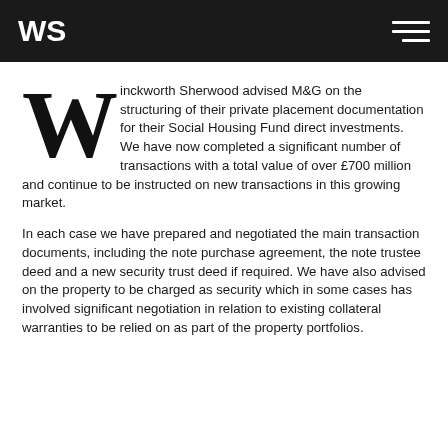WS
Winckworth Sherwood advised M&G on the structuring of their private placement documentation for their Social Housing Fund direct investments. We have now completed a significant number of transactions with a total value of over £700 million and continue to be instructed on new transactions in this growing market.
In each case we have prepared and negotiated the main transaction documents, including the note purchase agreement, the note trustee deed and a new security trust deed if required. We have also advised on the property to be charged as security which in some cases has involved significant negotiation in relation to existing collateral warranties to be relied on as part of the property portfolios.